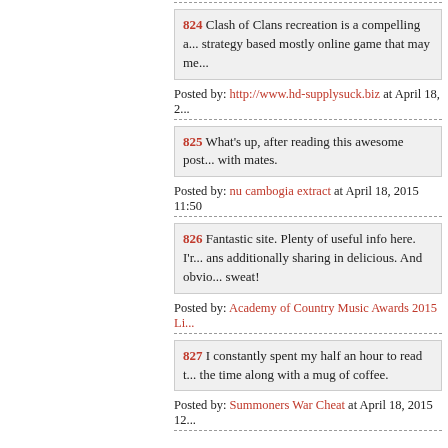824 Clash of Clans recreation is a compelling a... strategy based mostly online game that may me...
Posted by: http://www.hd-supplysuck.biz at April 18, 2...
825 What's up, after reading this awesome post... with mates.
Posted by: nu cambogia extract at April 18, 2015 11:50
826 Fantastic site. Plenty of useful info here. I'r... ans additionally sharing in delicious. And obvio... sweat!
Posted by: Academy of Country Music Awards 2015 Li...
827 I constantly spent my half an hour to read t... the time along with a mug of coffee.
Posted by: Summoners War Cheat at April 18, 2015 12...